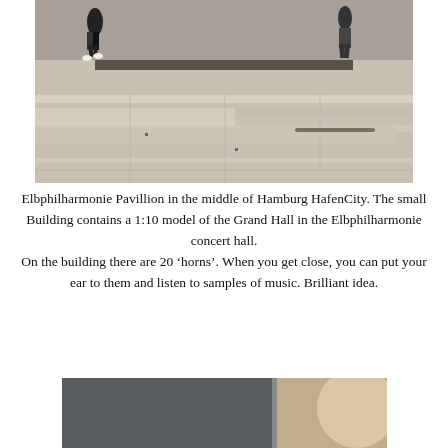[Figure (photo): Outdoor concrete steps/plaza area with people walking in the background, sunlit pavement with angular ledges]
Elbphilharmonie Pavillion in the middle of Hamburg HafenCity. The small Building contains a 1:10 model of the Grand Hall in the Elbphilharmonie concert hall. On the building there are 20 ‘horns’. When you get close, you can put your ear to them and listen to samples of music. Brilliant idea.
[Figure (photo): Close-up of a horn/listening device mounted on a dark metallic wall panel of the Elbphilharmonie Pavillion, with a small information plaque nearby]